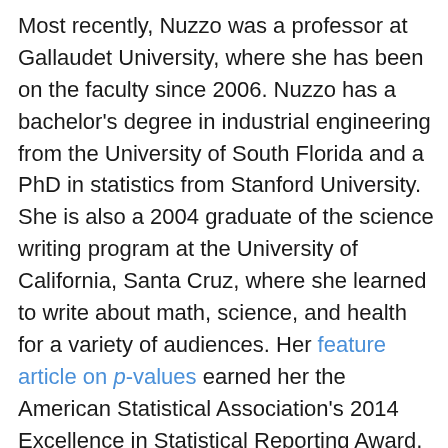Most recently, Nuzzo was a professor at Gallaudet University, where she has been on the faculty since 2006. Nuzzo has a bachelor's degree in industrial engineering from the University of South Florida and a PhD in statistics from Stanford University. She is also a 2004 graduate of the science writing program at the University of California, Santa Cruz, where she learned to write about math, science, and health for a variety of audiences. Her feature article on p-values earned her the American Statistical Association's 2014 Excellence in Statistical Reporting Award, and she facilitated the working group that produced the precedent-setting 2016 ASA p-values statement. Her writing has appeared in such publications as the New York Times, Los Angeles Times, ESPN the